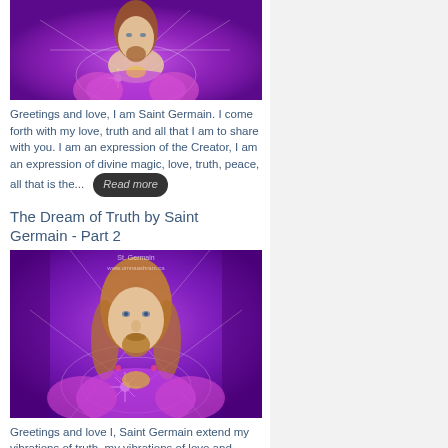[Figure (illustration): Partial top-cropped illustration of Saint Germain — a bearded man with reddish-brown hair against a bright purple/magenta glowing background with geometric light patterns]
Greetings and love, I am Saint Germain. I come forth with my love, truth and all that I am to share with you. I am an expression of the Creator, I am an expression of divine magic, love, truth, peace, all that is the...
The Dream of Truth by Saint Germain - Part 2
[Figure (illustration): Full illustration of Saint Germain — a bearded man with golden-brown hair against a bright purple/violet glowing background with geometric light star patterns. Watermark: St. Germain, www.omnaashram.ca]
Greetings and love I, Saint Germain extend my vibrations of truth, my vibrations of love and magic